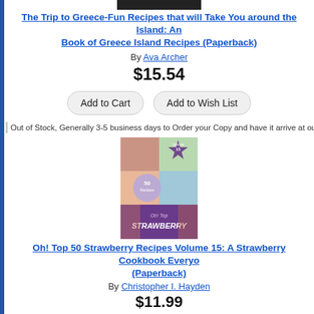[Figure (photo): Top of a book cover, partially clipped at the top of the page]
The Trip to Greece-Fun Recipes that will Take You around the Island: An Book of Greece Island Recipes (Paperback)
By Ava Archer
$15.54
Add to Cart  Add to Wish List
Out of Stock, Generally 3-5 business days to Order your Copy and have it arrive at our store o
[Figure (photo): Book cover for Oh! Top 50 Strawberry Recipes Volume 15, showing a collage of food photos with a purple strawberry banner]
Oh! Top 50 Strawberry Recipes Volume 15: A Strawberry Cookbook Everyo (Paperback)
By Christopher I. Hayden
$11.99
Add to Cart  Add to Wish List